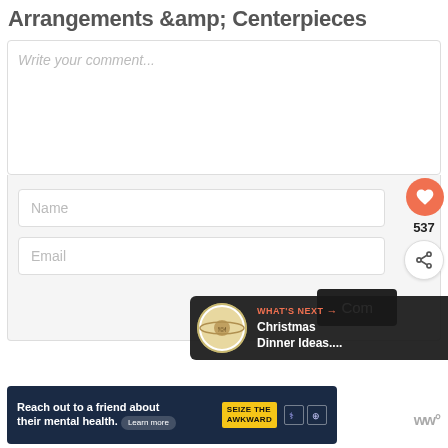Arrangements & Centerpieces
Write your comment...
Name
Email
Com...
537
WHAT'S NEXT → Christmas Dinner Ideas...
[Figure (infographic): Ad banner: 'Reach out to a friend about their mental health. Learn more' with SEIZE THE AWKWARD badge and government health icons]
Reach out to a friend about their mental health. Learn more
SEIZE THE AWKWARD